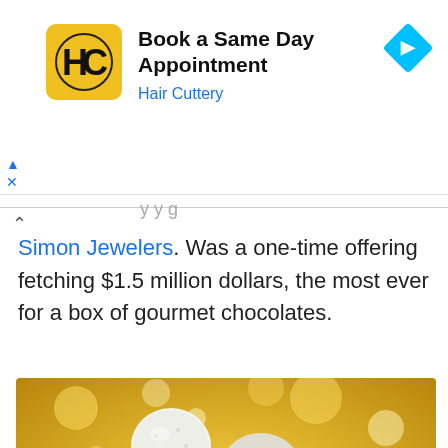[Figure (advertisement): Hair Cuttery ad banner with yellow logo showing HC letters, headline 'Book a Same Day Appointment', subtitle 'Hair Cuttery', and blue diamond arrow icon on the right]
Simon Jewelers. Was a one-time offering fetching $1.5 million dollars, the most ever for a box of gourmet chocolates.
[Figure (photo): A pile of assorted gourmet chocolate truffles — white coconut-coated, dark chocolate, milk chocolate with nuts — on a golden bokeh background]